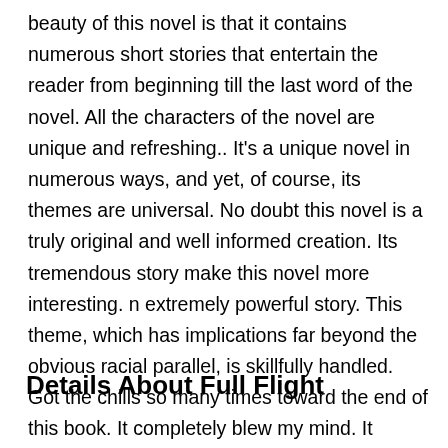beauty of this novel is that it contains numerous short stories that entertain the reader from beginning till the last word of the novel. All the characters of the novel are unique and refreshing.. It's a unique novel in numerous ways, and yet, of course, its themes are universal. No doubt this novel is a truly original and well informed creation. Its tremendous story make this novel more interesting. n extremely powerful story. This theme, which has implications far beyond the obvious racial parallel, is skillfully handled. Got the chills so many times toward the end of this book. It completely blew my mind. It managed to surpass my high expectations and be nothing at all like I expected.
Details About Full Flight